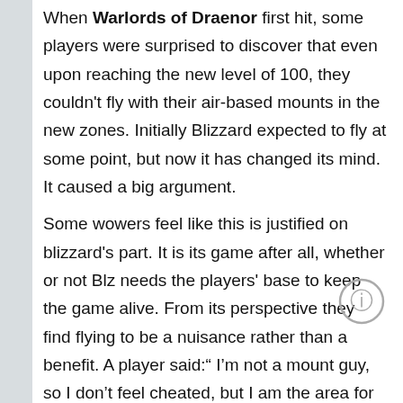When Warlords of Draenor first hit, some players were surprised to discover that even upon reaching the new level of 100, they couldn't fly with their air-based mounts in the new zones. Initially Blizzard expected to fly at some point, but now it has changed its mind. It caused a big argument.
Some wowers feel like this is justified on blizzard's part. It is its game after all, whether or not Blz needs the players' base to keep the game alive. From its perspective they find flying to be a nuisance rather than a benefit. A player said:" I'm not a mount guy, so I don't feel cheated, but I am the area for flying did...